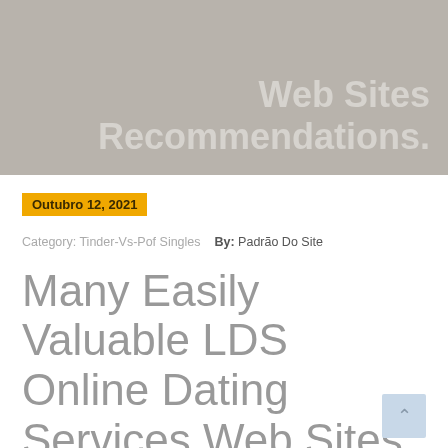Web Sites Recommendations.
Outubro 12, 2021
Category: Tinder-Vs-Pof Singles   By: Padrão Do Site
Many Easily Valuable LDS Online Dating Services Web Sites Recommendations.